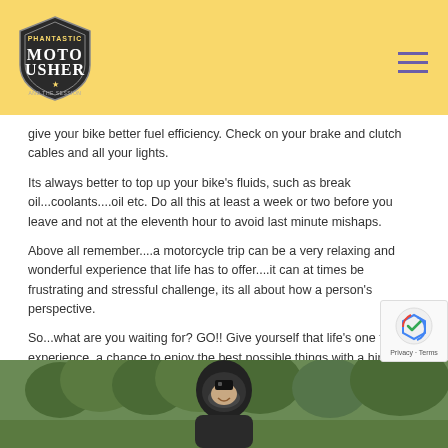Moto Usher
give your bike better fuel efficiency. Check on your brake and clutch cables and all your lights.
Its always better to top up your bike's fluids, such as break oil...coolants....oil etc. Do all this at least a week or two before you leave and not at the eleventh hour to avoid last minute mishaps.
Above all remember....a motorcycle trip can be a very relaxing and wonderful experience that life has to offer....it can at times be frustrating and stressful challenge, its all about how a person's perspective.
So...what are you waiting for? GO!! Give yourself that life's one time experience, a chance to enjoy the best possible things with a hint of planning your trip in advance...Cheers!!
[Figure (photo): Person wearing a motorcycle helmet in a green forested area, smiling at camera]